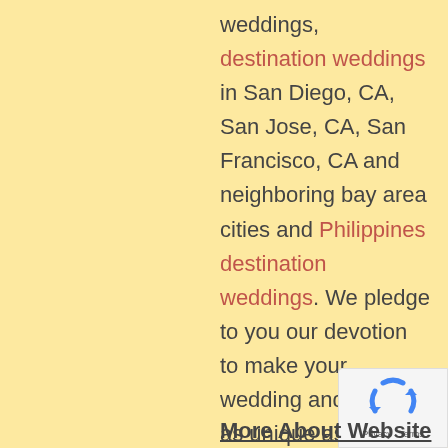weddings, destination weddings in San Diego, CA, San Jose, CA, San Francisco, CA and neighboring bay area cities and Philippines destination weddings. We pledge to you our devotion to make your wedding and event as unique as you. We want what you want, a perfect and beautiful day of memories to treasure throughout time.
[Figure (other): Google reCAPTCHA badge with recycle-arrow icon and Privacy · Terms text]